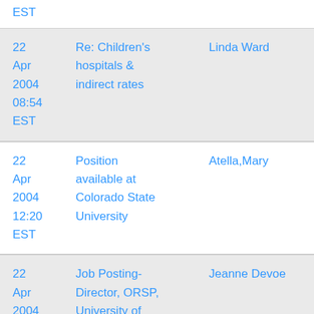EST
| Date | Subject | Sender |
| --- | --- | --- |
| 22 Apr 2004 08:54 EST | Re: Children's hospitals & indirect rates | Linda Ward |
| 22 Apr 2004 12:20 EST | Position available at Colorado State University | Atella,Mary |
| 22 Apr 2004 16:01 EST | Job Posting- Director, ORSP, University of Maine | Jeanne Devoe |